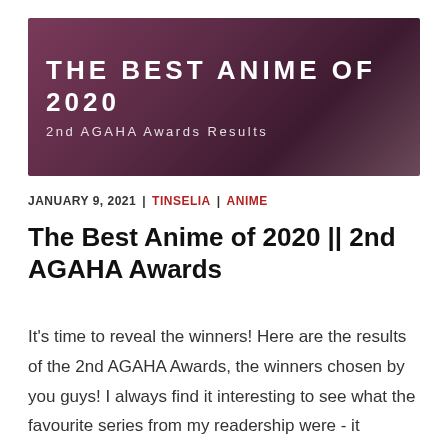[Figure (illustration): Banner image with anime character and purple/maroon overlay showing 'THE BEST ANIME OF 2020' and '2nd AGAHA Awards Results']
JANUARY 9, 2021 | TINSELIA | ANIME
The Best Anime of 2020 || 2nd AGAHA Awards
It's time to reveal the winners! Here are the results of the 2nd AGAHA Awards, the winners chosen by you guys! I always find it interesting to see what the favourite series from my readership were - it